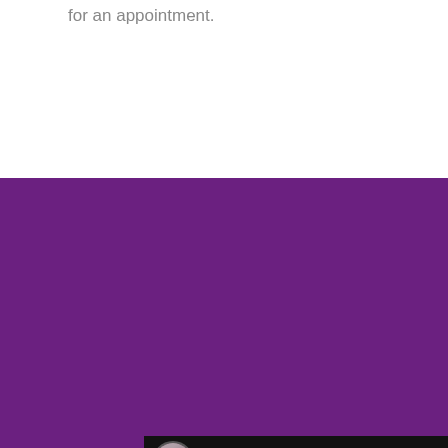for an appointment.
[Figure (screenshot): YouTube video thumbnail showing 'The Micro-Injection ...' with a circular avatar, three-dot menu, and a play button overlay on an image of a medical professional in blue gloves performing a lip injection procedure.]